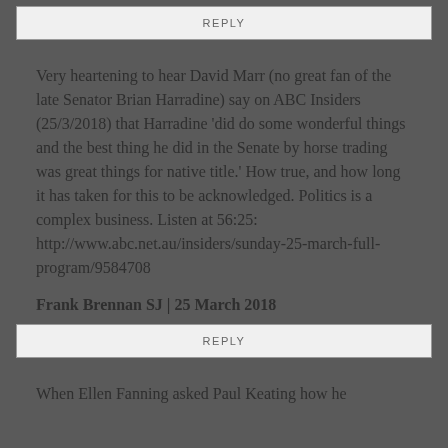REPLY
Very heartening to hear David Marr (no great fan of the late Senator Brian Harradine) say on ABC Insiders (25/3/2018) that Harradine 'did do some wonderful things and the best thing he did in the Senate by horse trading was great things for native title.' How true, and how long it has taken for this to be acknowledged. Politics is a complex business. Listen at 56:25: http://www.abc.net.au/insiders/sunday-25-march-full-program/9584708
Frank Brennan SJ | 25 March 2018
REPLY
When Ellen Fanning asked Paul Keating how he